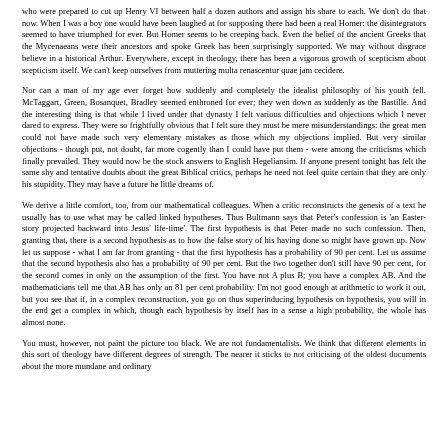who were prepared to cut up Henry VI between half a dozen authors and assign his share to each. We don't do that now. When I was a boy one would have been laughed at for supposing there had been a real Homer: the disintegrators seemed to have triumphed for ever. But Homer seems to be creeping back. Even the belief of the ancient Greeks that the Mycenaeans were their ancestors and spoke Greek has been surprisingly supported. We may without disgrace believe in a historical Arthur. Everywhere, except in theology, there has been a vigorous growth of scepticism about scepticism itself. We can't keep ourselves from muttering multa renascentur quae jam cecidere.
Nor can a man of my age ever forget how suddenly and completely the idealist philosophy of his youth fell. McTaggart, Green, Bosanquet, Bradley seemed enthroned for ever; they wen down as suddenly as the Bastille. And the interesting thing is that while I lived under that dynasty I felt various difficulties and objections which I never dared to express. They were so frightfully obvious that I felt sure they must be mere misunderstandings: the great men could not have made such very elementary mistakes as those which my objections implied. But very similar objections - though put, not doubt, far more cogently than I could have put them - were among the criticisms which finally prevailed. They would now be the stock answers to English Hegeliansim. If anyone present tonight has felt the same shy and tentative doubts about the great Biblical critics, perhaps he need not feel quite certain that they are only his stupidity. They may have a future he little dreams of.
We derive a little comfort, too, from our mathematical colleagues. When a critic reconstructs the genesis of a text he usually has to use what may be called linked hypotheses. Thus Bultmann says that Peter's confession is 'an Easter-story projected backward into Jesus' life-time'. The first hypothesis is that Peter made no such confession. Then, granting that, there is a second hypothesis as to how the false story of his having done so might have grown up. Now let us suppose - what I am far from granting - that the first hypothesis has a probability of 90 per cent. Let us assume that the second hypothesis also has a probability of 90 per cent. But the two together don't still have 90 per cent, for the second comes in only on the assumption of the first. You have not A plus B; you have a complex AB. And the mathematicians tell me that AB has only an 81 per cent probability. I'm not good enough at arithmetic to work it out, but you see that if, in a complex reconstruction, you go on thus superinducing hypothesis on hypothesis, you will in the end get a complex in which, though each hypothesis by itself has in a sense a high probability, the whole has almost none.
You must, however, not paint the picture too black. We are not fundamentalists. We think that different elements in this sort of theology have different degrees of strength. The nearer it sticks to not criticising of the oldest documents about the more mundane and ordinary